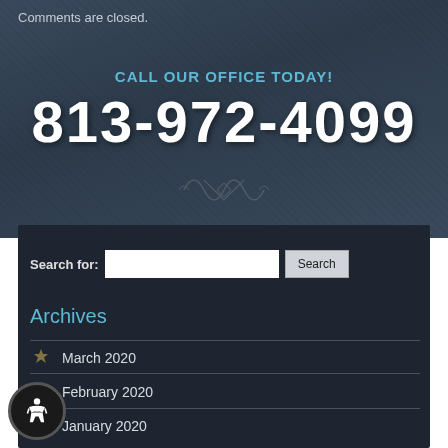Comments are closed.
CALL OUR OFFICE TODAY!
813-972-4099
[Figure (illustration): Decorative ornamental divider graphic]
Search for:
Archives
March 2020
February 2020
January 2020